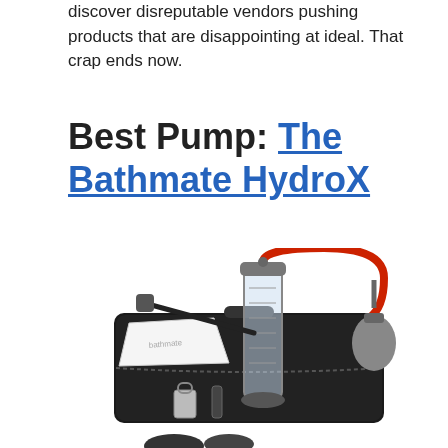discover disreputable vendors pushing products that are disappointing at ideal. That crap ends now.
Best Pump: The Bathmate HydroX
[Figure (photo): Product photo of the Bathmate HydroX pump kit, showing a clear cylindrical pump with red tubing, a black carrying case, cleaning brush, white cloth with Bathmate logo, combination lock, and gray hand pump bulb.]